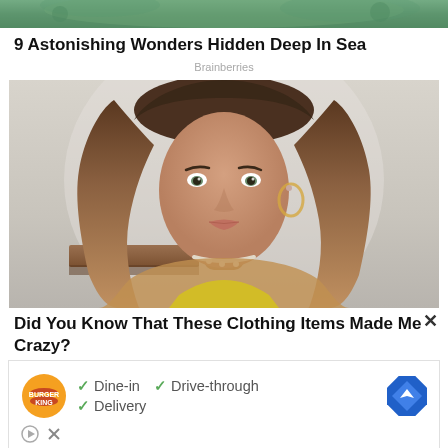[Figure (photo): Cropped top portion of an underwater/nature scene image]
9 Astonishing Wonders Hidden Deep In Sea
Brainberries
[Figure (photo): Portrait photo of a young woman with long wavy brown hair, wearing hoop earrings, a pearl necklace, and a yellow top, set against a light background]
Did You Know That These Clothing Items Made Me Crazy?
[Figure (infographic): Burger King advertisement showing logo, checkmarks for Dine-in, Drive-through, Delivery, and a navigation diamond icon]